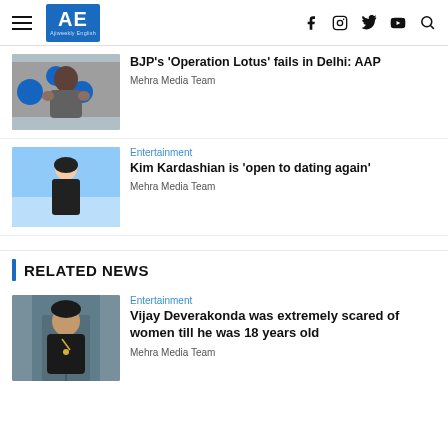AE Ajiweekly English — navigation with f, instagram, twitter, youtube, search icons
[Figure (photo): Man in checkered shirt with hands raised, standing in front of AAP/party backdrop]
BJP's 'Operation Lotus' fails in Delhi: AAP
Mehra Media Team
[Figure (photo): Woman in black outfit standing near water]
Entertainment
Kim Kardashian is 'open to dating again'
Mehra Media Team
RELATED NEWS
[Figure (photo): Young man in black jacket with chain necklace, standing in front of a building]
Entertainment
Vijay Deverakonda was extremely scared of women till he was 18 years old
Mehra Media Team